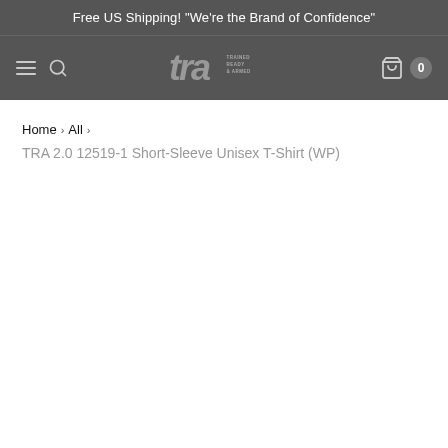Free US Shipping! "We're the Brand of Confidence"
[Figure (logo): TRA (Trained Ready & Armed) brand logo in grey on dark background]
Home > All >
TRA 2.0 12519-1 Short-Sleeve Unisex T-Shirt (WP)